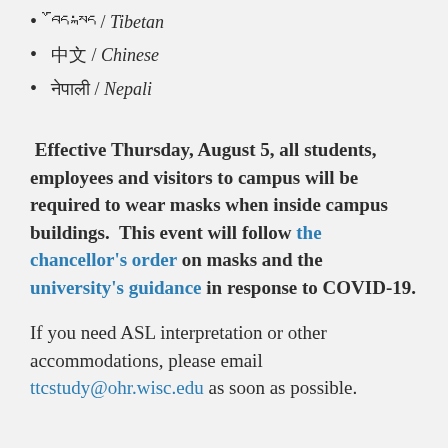བོད་སྐད / Tibetan
中文 / Chinese
नेपाली / Nepali
Effective Thursday, August 5, all students, employees and visitors to campus will be required to wear masks when inside campus buildings. This event will follow the chancellor's order on masks and the university's guidance in response to COVID-19.
If you need ASL interpretation or other accommodations, please email ttcstudy@ohr.wisc.edu as soon as possible.